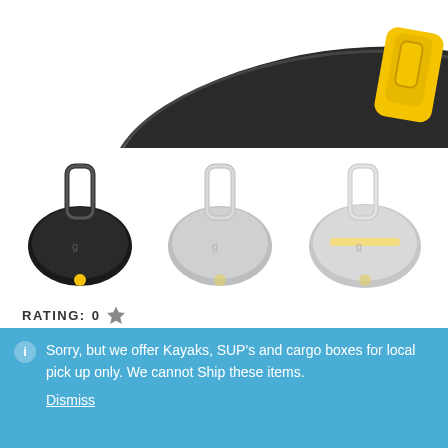[Figure (photo): Top view of a black kayak cockpit cover/spray skirt with yellow handle hardware, cropped at the top of the page]
[Figure (photo): Three thumbnail product images: black kayak spray skirt (left), grey/medium spray skirt (center), grey/yellow spray skirt (right)]
RATING: 0 ★
$104.95 – $109.95
ℹ Sorry, but we offer Kayaks, SUP's and cargo boxes for local pick up only. We cannot Ship these items.
Dismiss